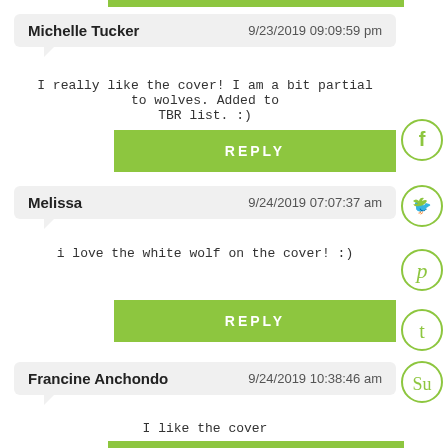[top green bar]
Michelle Tucker   9/23/2019 09:09:59 pm
I really like the cover! I am a bit partial to wolves. Added to TBR list. :)
REPLY
Melissa   9/24/2019 07:07:37 am
i love the white wolf on the cover! :)
REPLY
Francine Anchondo   9/24/2019 10:38:46 am
I like the cover
[bottom green bar]